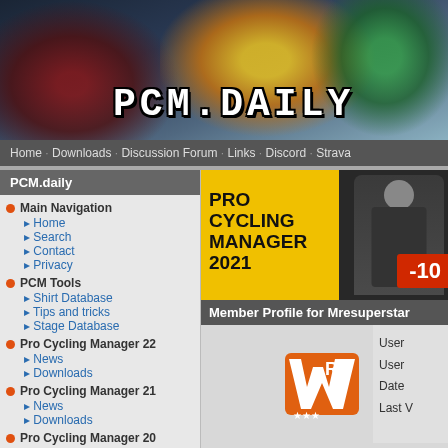[Figure (screenshot): PCM.daily website banner with cyclists and logo text PCM.DAILY]
Home · Downloads · Discussion Forum · Links · Discord · Strava
PCM.daily
Main Navigation
Home
Search
Contact
Privacy
PCM Tools
Shirt Database
Tips and tricks
Stage Database
Pro Cycling Manager 22
News
Downloads
Pro Cycling Manager 21
News
Downloads
Pro Cycling Manager 20
News
Downloads
Pro Cycling Manager 19
News
Downloads
[Figure (screenshot): Pro Cycling Manager 2021 advertisement banner with -10 discount]
Member Profile for Mresuperstar
[Figure (logo): Mresuperstar avatar with orange W and RE letters]
User
User
Date
Last V
Contact Information
Website